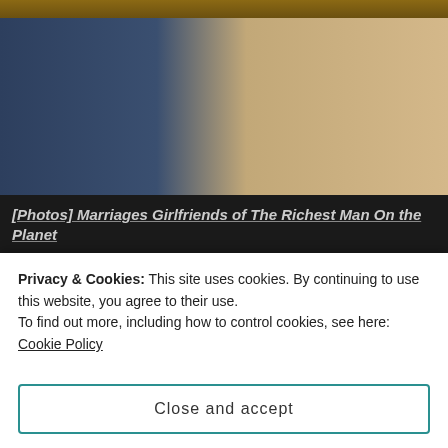[Figure (photo): Two people seated — a man in a dark navy suit with a light tie, and a woman with long brown hair wearing sunglasses and a lace/floral top with a pink flower, appearing to be at an outdoor event]
[Photos] Marriages Girlfriends of The Richest Man On the Planet
Bon Voyaged
[Figure (photo): Thumbnail image of a person outdoors with green trees in background]
31 Women and Giant Claims...
Privacy & Cookies: This site uses cookies. By continuing to use this website, you agree to their use.
To find out more, including how to control cookies, see here: Cookie Policy
Close and accept